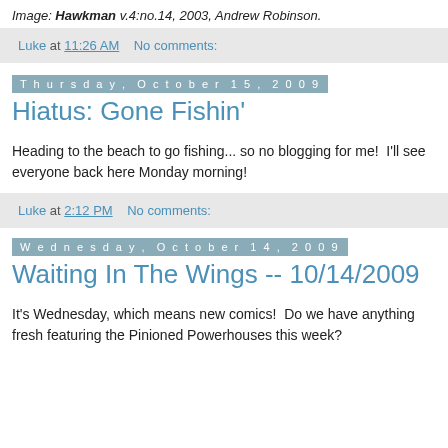Image: Hawkman v.4:no.14, 2003, Andrew Robinson.
Luke at 11:26 AM   No comments:
Thursday, October 15, 2009
Hiatus: Gone Fishin'
Heading to the beach to go fishing... so no blogging for me!  I'll see everyone back here Monday morning!
Luke at 2:12 PM   No comments:
Wednesday, October 14, 2009
Waiting In The Wings -- 10/14/2009
It's Wednesday, which means new comics!  Do we have anything fresh featuring the Pinioned Powerhouses this week?